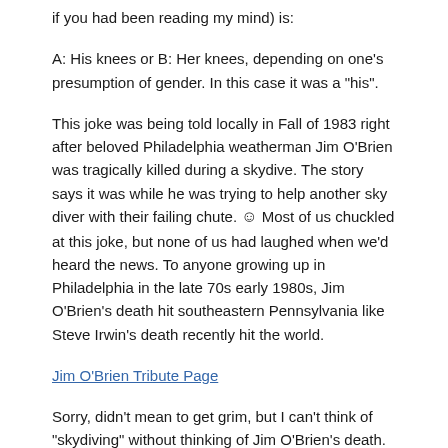if you had been reading my mind) is:
A: His knees or B: Her knees, depending on one's presumption of gender. In this case it was a "his".
This joke was being told locally in Fall of 1983 right after beloved Philadelphia weatherman Jim O'Brien was tragically killed during a skydive. The story says it was while he was trying to help another sky diver with their failing chute. ☺ Most of us chuckled at this joke, but none of us had laughed when we'd heard the news. To anyone growing up in Philadelphia in the late 70s early 1980s, Jim O'Brien's death hit southeastern Pennsylvania like Steve Irwin's death recently hit the world.
Jim O'Brien Tribute Page
Sorry, didn't mean to get grim, but I can't think of "skydiving" without thinking of Jim O'Brien's death. Kinda like what people will associate with "stingray" for the next few years.
Quote